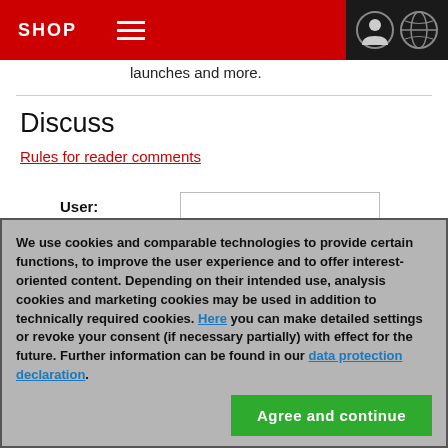SHOP
launches and more.
Discuss
Rules for reader comments
User: [input field]
Password: [input field]
Not registered yet? Register
We use cookies and comparable technologies to provide certain functions, to improve the user experience and to offer interest-oriented content. Depending on their intended use, analysis cookies and marketing cookies may be used in addition to technically required cookies. Here you can make detailed settings or revoke your consent (if necessary partially) with effect for the future. Further information can be found in our data protection declaration.
Agree and continue